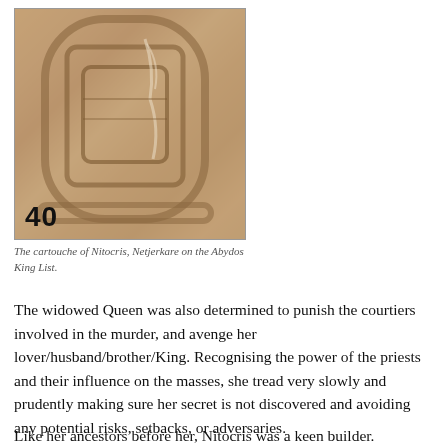[Figure (photo): A photograph of the cartouche of Nitocris, Netjerkare on the Abydos King List, with the number 40 overlaid at the bottom left.]
The cartouche of Nitocris, Netjerkare on the Abydos King List.
The widowed Queen was also determined to punish the courtiers involved in the murder, and avenge her lover/husband/brother/King. Recognising the power of the priests and their influence on the masses, she tread very slowly and prudently making sure her secret is not discovered and avoiding any potential risks, setbacks, or adversaries.
Like her ancestors before her, Nitocris was a keen builder.